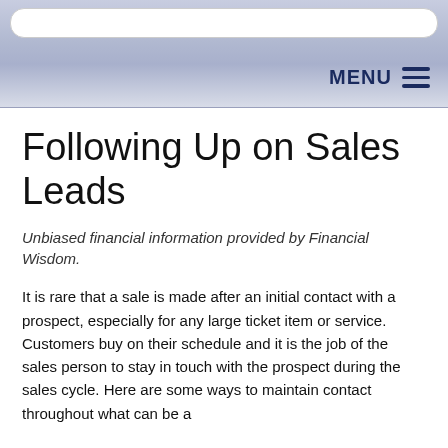MENU
Following Up on Sales Leads
Unbiased financial information provided by Financial Wisdom.
It is rare that a sale is made after an initial contact with a prospect, especially for any large ticket item or service. Customers buy on their schedule and it is the job of the sales person to stay in touch with the prospect during the sales cycle. Here are some ways to maintain contact throughout what can be a